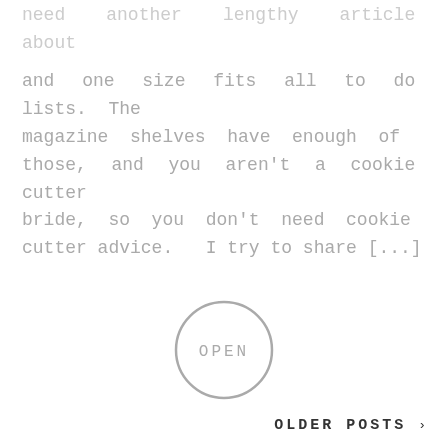need another lengthy article about
and one size fits all to do lists. The magazine shelves have enough of those, and you aren't a cookie cutter bride, so you don't need cookie cutter advice.  I try to share [...]
[Figure (other): Circular button outline with the text OPEN inside]
OLDER POSTS >